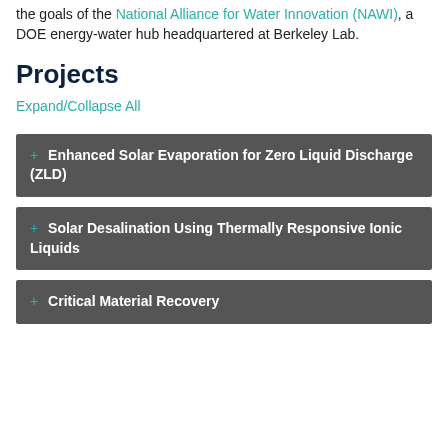the goals of the National Alliance for Water Innovation (NAWI), a DOE energy-water hub headquartered at Berkeley Lab.
Projects
Expand/Collapse All
+ Enhanced Solar Evaporation for Zero Liquid Discharge (ZLD)
+ Solar Desalination Using Thermally Responsive Ionic Liquids
+ Critical Material Recovery